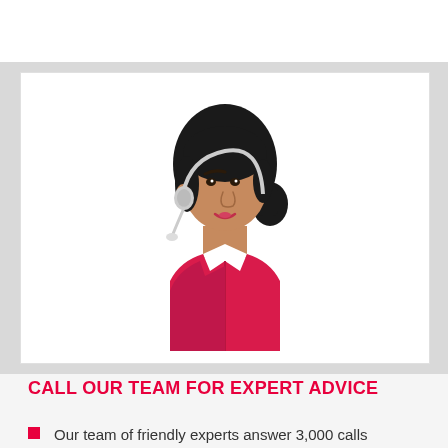[Figure (illustration): Illustration of a female customer service agent with dark hair in a ponytail, wearing a red top and a white collar, with a headset/microphone]
CALL OUR TEAM FOR EXPERT ADVICE
Our team of friendly experts answer 3,000 calls